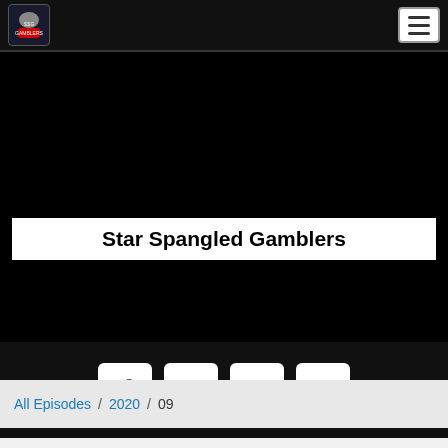[Figure (logo): Star Spangled Gamblers logo in navbar]
Star Spangled Gamblers
[Figure (other): Social media buttons: Facebook, Twitter, Email, RSS]
All Episodes / 2020 / 09